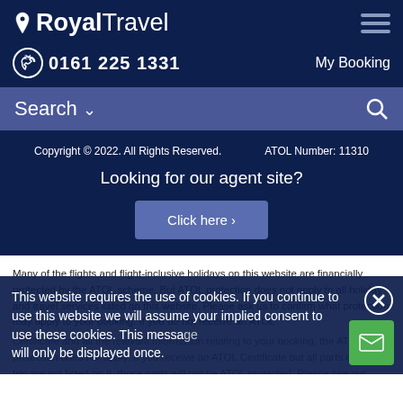RoyalTravel
0161 225 1331    My Booking
Search
Copyright © 2022. All Rights Reserved.    ATOL Number: 11310
Looking for our agent site?
Click here >
Many of the flights and flight-inclusive holidays on this website are financially protected by the ATOL scheme. But ATOL protection does not apply to all holiday and travel services listed on this website. Please ask us to confirm what protection may apply to your booking. If you do not receive an ATOL Certificate and all the relevantle... Certain trips on this website will be ATOL protected while others will receive an ATOL Certificate... booking guardians for twin information or for more information ab...
This website requires the use of cookies. If you continue to use this website we will assume your implied consent to use these cookies. This message will only be displayed once.